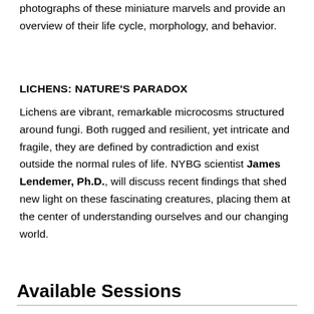photographs of these miniature marvels and provide an overview of their life cycle, morphology, and behavior.
LICHENS: NATURE'S PARADOX
Lichens are vibrant, remarkable microcosms structured around fungi. Both rugged and resilient, yet intricate and fragile, they are defined by contradiction and exist outside the normal rules of life. NYBG scientist James Lendemer, Ph.D., will discuss recent findings that shed new light on these fascinating creatures, placing them at the center of understanding ourselves and our changing world.
Available Sessions